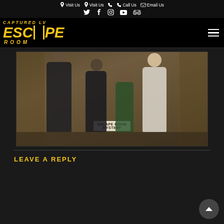Visit Us | Visit Us | Call Us | Email Us
[Figure (logo): Captured LV Escape Room logo in yellow/gold on black background with hamburger menu icon]
[Figure (photo): Group of four people (two adults, two children) posing and holding a banner that reads 'ESCAPE ROOM MYSTERY' inside an Egyptian-themed escape room with hieroglyph-covered walls]
LEAVE A REPLY